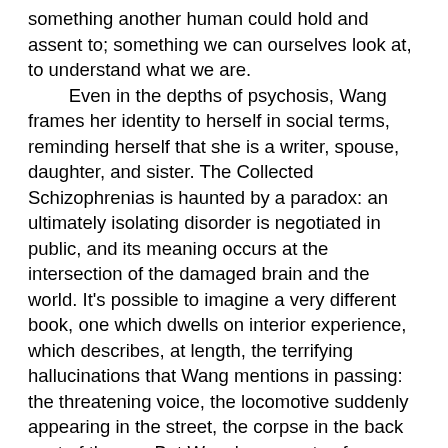something another human could hold and assent to; something we can ourselves look at, to understand what we are.

Even in the depths of psychosis, Wang frames her identity to herself in social terms, reminding herself that she is a writer, spouse, daughter, and sister. The Collected Schizophrenias is haunted by a paradox: an ultimately isolating disorder is negotiated in public, and its meaning occurs at the intersection of the damaged brain and the world. It's possible to imagine a very different book, one which dwells on interior experience, which describes, at length, the terrifying hallucinations that Wang mentions in passing: the threatening voice, the locomotive suddenly appearing in the street, the corpse in the back seat of the car. But Wang's accounts of unreality are spare and deliberate. Instead, she narrates herself experiencing the worst of her illness in the presence of others. Believing herself to be dead, she talks with her husband, who calmly offers evidence for the fact that she is alive. Answering a nurse's query in an institution, she asserts that she feels fine, but is disbelieved; watching a movie with friends—one of whom shares her diagnosis—she begins to panic, as the